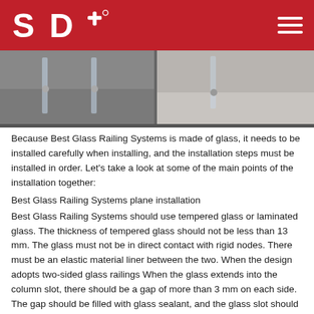SD+ logo and navigation
[Figure (photo): Photo of glass railing system installation showing glass panels at floor level with metal fittings on a tiled surface]
Because Best Glass Railing Systems is made of glass, it needs to be installed carefully when installing, and the installation steps must be installed in order. Let's take a look at some of the main points of the installation together:
Best Glass Railing Systems plane installation
Best Glass Railing Systems should use tempered glass or laminated glass. The thickness of tempered glass should not be less than 13 mm. The glass must not be in direct contact with rigid nodes. There must be an elastic material liner between the two. When the design adopts two-sided glass railings When the glass extends into the column slot, there should be a gap of more than 3 mm on each side. The gap should be filled with glass sealant, and the glass slot should not be less than 13 mm.
Best Glass Railing Systems base column installation
The base of Best Glass Railing Systems is the key part of the